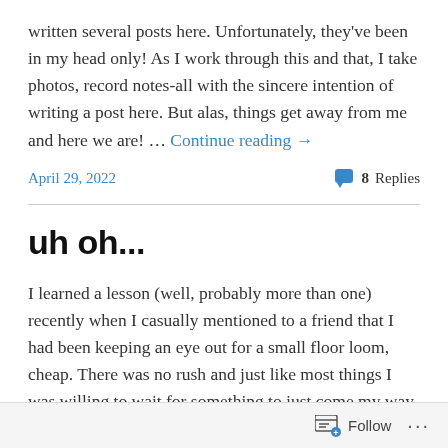written several posts here. Unfortunately, they've been in my head only! As I work through this and that, I take photos, record notes-all with the sincere intention of writing a post here. But alas, things get away from me and here we are! … Continue reading →
April 29, 2022
8 Replies
uh oh...
I learned a lesson (well, probably more than one) recently when I casually mentioned to a friend that I had been keeping an eye out for a small floor loom, cheap. There was no rush and just like most things I was willing to wait for something to just come my way. The timing was right
Follow ···